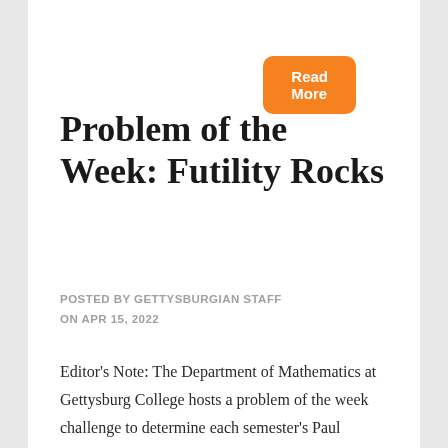[Figure (other): Orange 'Read More' button in the upper right area of the page]
Problem of the Week: Futility Rocks
POSTED BY GETTYSBURGIAN STAFF
ON APR 15, 2022
Editor's Note: The Department of Mathematics at Gettysburg College hosts a problem of the week challenge to determine each semester's Paul Mugabi problem-solving award recipient(s).  Each week's entries are scored by a faculty